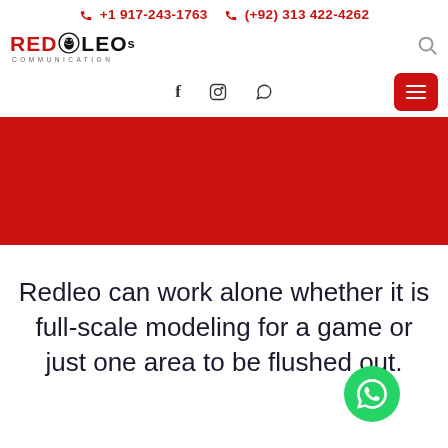+1 917-243-1763   (+92) 313 422-4262
[Figure (logo): REDOLEOs Communication logo with lion head icon]
[Figure (other): Navigation bar with social icons (Facebook, Instagram, WhatsApp) and red hamburger menu button]
[Figure (other): Red hero banner area]
Redleo can work alone whether it is full-scale modeling for a game or just one area to be flushed out.